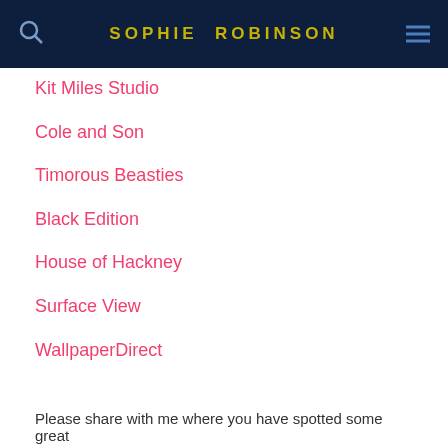SOPHIE ROBINSON
Kit Miles Studio
Cole and Son
Timorous Beasties
Black Edition
House of Hackney
Surface View
WallpaperDirect
Please share with me where you have spotted some great